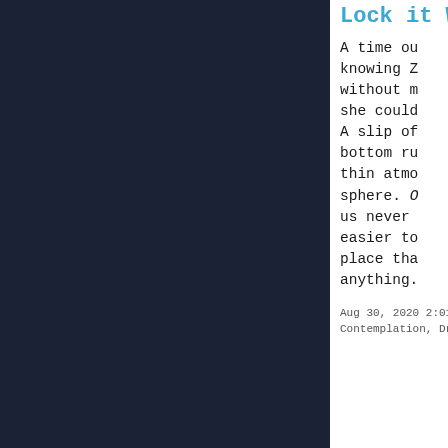Lock It Wr
A time ou
knowing Z
without m
she could
A slip of
bottom ru
thin atmo
sphere. O
us never 
easier to
place tha
anything.
Aug 30, 2020 2:01:0
Contemplation, Drea